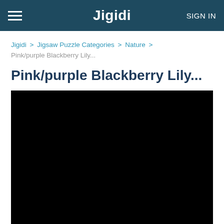Jigidi   SIGN IN
Jigidi > Jigsaw Puzzle Categories > Nature > Pink/purple Blackberry Lily...
Pink/purple Blackberry Lily...
[Figure (photo): Black/dark image area representing a jigsaw puzzle photo of a Pink/purple Blackberry Lily (image not loaded)]